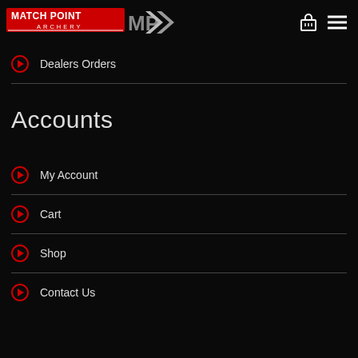Match Point Archery - Navigation Header
Dealers Orders
Accounts
My Account
Cart
Shop
Contact Us